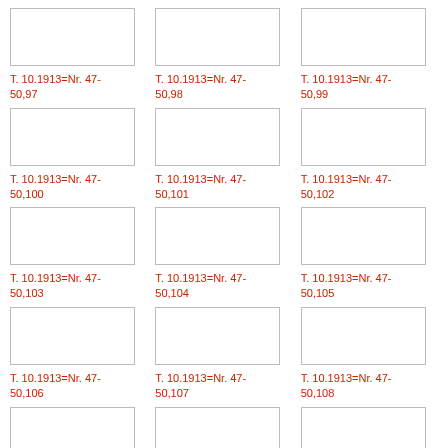[Figure (other): Thumbnail image placeholder icon]
T. 10.1913=Nr. 47-50,97
[Figure (other): Thumbnail image placeholder icon]
T. 10.1913=Nr. 47-50,98
[Figure (other): Thumbnail image placeholder icon]
T. 10.1913=Nr. 47-50,99
[Figure (other): Thumbnail image placeholder icon]
T. 10.1913=Nr. 47-50,100
[Figure (other): Thumbnail image placeholder icon]
T. 10.1913=Nr. 47-50,101
[Figure (other): Thumbnail image placeholder icon]
T. 10.1913=Nr. 47-50,102
[Figure (other): Thumbnail image placeholder icon]
T. 10.1913=Nr. 47-50,103
[Figure (other): Thumbnail image placeholder icon]
T. 10.1913=Nr. 47-50,104
[Figure (other): Thumbnail image placeholder icon]
T. 10.1913=Nr. 47-50,105
[Figure (other): Thumbnail image placeholder icon]
T. 10.1913=Nr. 47-50,106
[Figure (other): Thumbnail image placeholder icon]
T. 10.1913=Nr. 47-50,107
[Figure (other): Thumbnail image placeholder icon]
T. 10.1913=Nr. 47-50,108
[Figure (other): Thumbnail image placeholder icon (partial)]
[Figure (other): Thumbnail image placeholder icon (partial)]
[Figure (other): Thumbnail image placeholder icon (partial)]